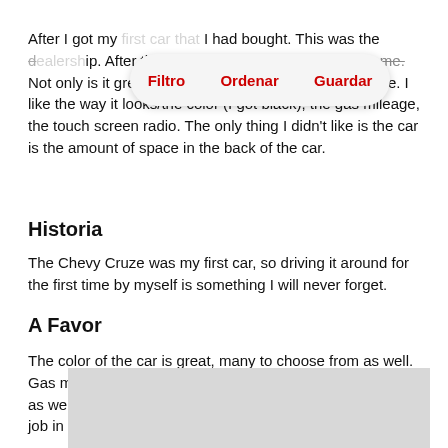After I got my [car] I had bought. This was the [dealership]. After the first lap I knew it was the car for me. Not only is it great in size, but it is stylish and affordable. I like the way it looks/the color (I got black), the gas mileage, the touch screen radio. The only thing I didn't like is the car is the amount of space in the back of the car.
Historia
The Chevy Cruze was my first car, so driving it around for the first time by myself is something I will never forget.
A Favor
The color of the car is great, many to choose from as well. Gas mileage is pretty good as well. I like the price of the car as well, it was affordable for someone working a part time job in high school. My favorite feature that I use
[Figure (screenshot): Gray placeholder image at the bottom of the page]